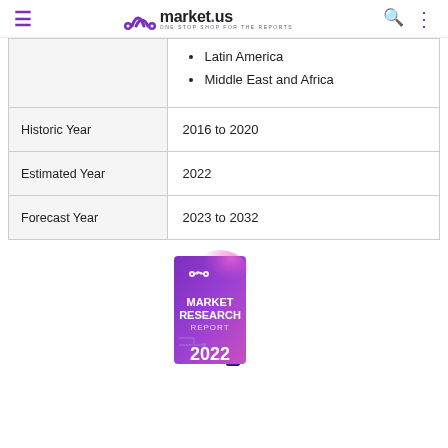market.us — ONE STOP SHOP FOR THE REPORTS
|  |  |
| --- | --- |
|  | Latin America
Middle East and Africa |
| Historic Year | 2016 to 2020 |
| Estimated Year | 2022 |
| Forecast Year | 2023 to 2032 |
[Figure (illustration): market.us Market Research Report 2022 book cover illustration with purple/pink gradient design]